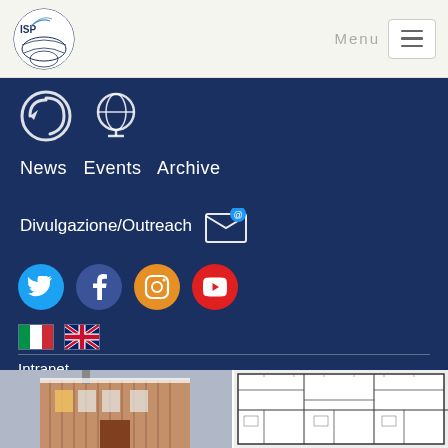[Figure (logo): ISP logo with globe/satellite imagery in top left header]
Menu
[Figure (infographic): Navigation menu panel on dark blue background with icons, nav links (News, Events, Archive), Divulgazione/Outreach with email icon, social media icons (Twitter, Facebook, Instagram, YouTube), Italian and UK flags, and Intranet link]
News  Events  Archive
Divulgazione/Outreach
Intranet
[Figure (photo): Photo of a building exterior with wooden/metal siding in winter/arctic setting]
[Figure (engineering-diagram): Floor plan/architectural drawing showing room layouts of a building]